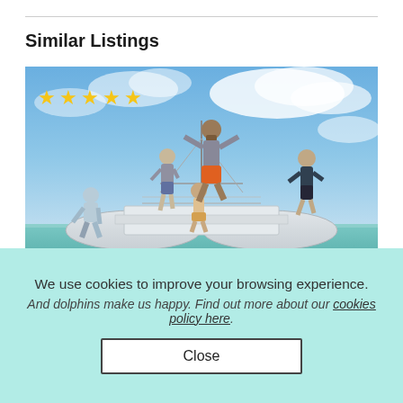Similar Listings
[Figure (photo): Group of people jumping off a sailboat/catamaran into the water, with a woman sitting on the deck. Star rating overlay (5 stars) in top left. Label 'person' in bottom left.]
We use cookies to improve your browsing experience.
And dolphins make us happy. Find out more about our cookies policy here.
Close